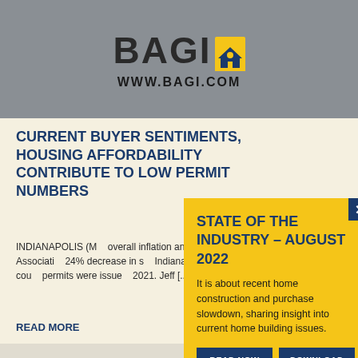[Figure (logo): BAGI logo with house icon and website URL www.bagi.com on a grey background photo of a person]
CURRENT BUYER SENTIMENTS, HOUSING AFFORDABILITY CONTRIBUTE TO LOW PERMIT NUMBERS
INDIANAPOLIS (M... overall inflation and... Builder's Association... 24% decrease in s... Indiana's nine-cou... permits were issue... 2021. Jeff [...]
READ MORE
STATE OF THE INDUSTRY – AUGUST 2022
It is about recent home construction and purchase slowdown, sharing insight into current home building issues.
READ NOW
DOWNLOAD